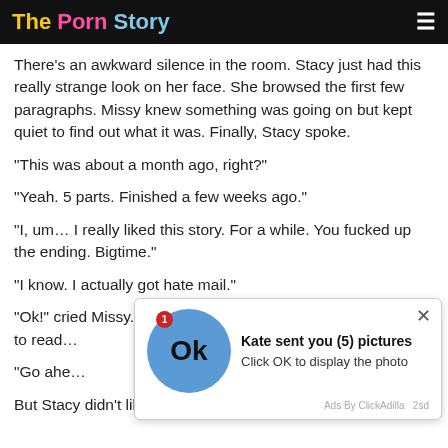The Porn Story
There's an awkward silence in the room. Stacy just had this really strange look on her face. She browsed the first few paragraphs. Missy knew something was going on but kept quiet to find out what it was. Finally, Stacy spoke.
“This was about a month ago, right?”
“Yeah. 5 parts. Finished a few weeks ago.”
“I, um… I really liked this story. For a while. You fucked up the ending. Bigtime.”
“I know. I actually got hate mail.”
“Ok!” cried Missy. “Enough! What the hell is this story? I want to read…
“Go ahe…
But Stacy didn’t like that. “Wait. Melissa, we’re talking story…
[Figure (other): Ad overlay: blue circular OK button with notification badge showing '1', text 'Kate sent you (5) pictures', subtext 'Click OK to display the photo', footer 'Ads By ClickAdilla 2sd', with X close button]